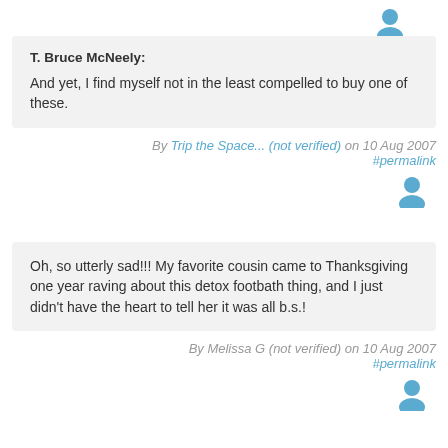T. Bruce McNeely:
And yet, I find myself not in the least compelled to buy one of these.
By Trip the Space... (not verified) on 10 Aug 2007 #permalink
Oh, so utterly sad!!! My favorite cousin came to Thanksgiving one year raving about this detox footbath thing, and I just didn't have the heart to tell her it was all b.s.!
By Melissa G (not verified) on 10 Aug 2007 #permalink